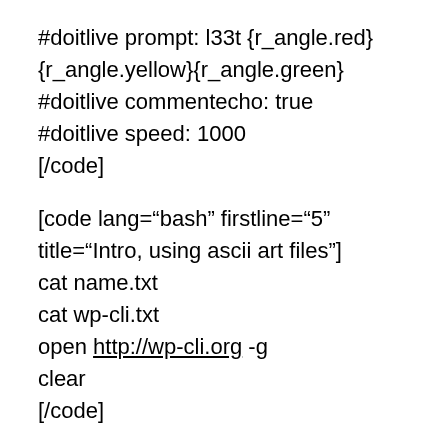#doitlive prompt: l33t {r_angle.red}
{r_angle.yellow}{r_angle.green}
#doitlive commentecho: true
#doitlive speed: 1000
[/code]
[code lang="bash" firstline="5" title="Intro, using ascii art files"]
cat name.txt
cat wp-cli.txt
open http://wp-cli.org -g
clear
[/code]
[code lang="bash" firstline="9" title="Demo site and WP-CLI download and setup"]